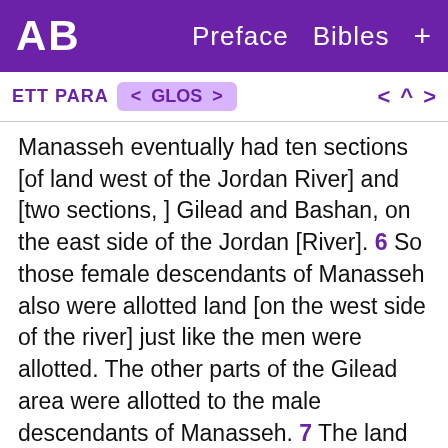AB  Preface  Bibles  +
ETT PARA  < GLOS >  < ^ >
Manasseh eventually had ten sections [of land west of the Jordan River] and [two sections, ] Gilead and Bashan, on the east side of the Jordan [River]. 6 So those female descendants of Manasseh also were allotted land [on the west side of the river] just like the men were allotted. The other parts of the Gilead area were allotted to the male descendants of Manasseh. 7 The land allotted to the tribe of Manasseh was between the land where the tribe of Asher lives and Michmethath [town], near Shechem [city]. The border extended south to the Tappuah Spring. 8 The land near the Tappuah area belonged to the tribe of Manasseh, but the town of Tappuah, which was at the border of the land that was allotted to the tribe of Manasseh, was allotted to the tribe of Ephraim. 9 The border [of